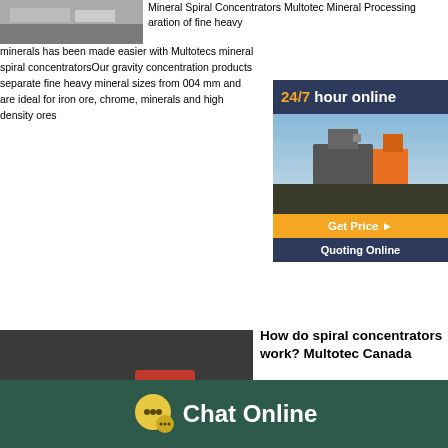[Figure (photo): Aerial/outdoor photo of mineral processing equipment or mining site]
Mineral Spiral Concentrators Multotec Mineral Processing aration of fine heavy minerals has been made easier with Multotecs mineral spiral concentratorsOur gravity concentration products separate fine heavy mineral sizes from 004 mm and are ideal for iron ore, chrome, minerals and high density ores
[Figure (infographic): 24/7 hour online sidebar banner with industrial equipment photo, Get Price button, and Quoting Online button]
[Figure (photo): Photo of industrial spiral concentrator machinery in a factory setting]
How do spiral concentrators work? Multotec Canada
Spiral concentrators are used in a number of mineral processing applications They're extensively used to process mineral sand deposits, including monazite, zircon, ilmenite and rutile deposits More recently, spiral concentrators have been widely used to recover fine coal as well as gold, iron ore and other minerals
[Figure (infographic): Chat Online footer bar with speech bubble icon]